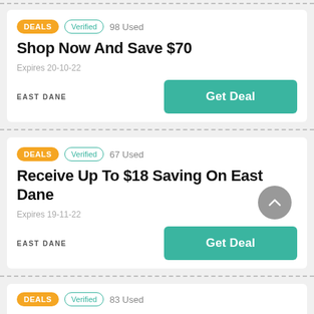DEALS · Verified · 98 Used
Shop Now And Save $70
Expires 20-10-22
EAST DANE
Get Deal
DEALS · Verified · 67 Used
Receive Up To $18 Saving On East Dane
Expires 19-11-22
EAST DANE
Get Deal
DEALS · Verified · 83 Used